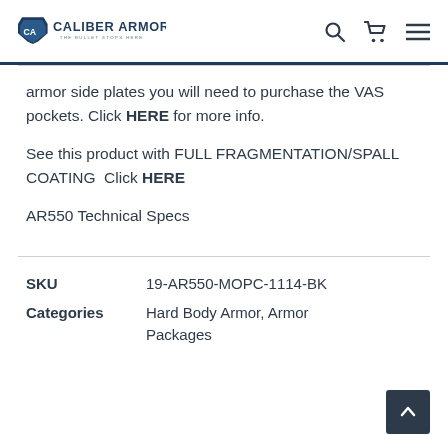CALIBER ARMOR - THE BULLET STOPS HERE
armor side plates you will need to purchase the VAS pockets. Click HERE for more info.
See this product with FULL FRAGMENTATION/SPALL COATING  Click HERE
AR550 Technical Specs
| Field | Value |
| --- | --- |
| SKU | 19-AR550-MOPC-1114-BK |
| Categories | Hard Body Armor, Armor Packages |